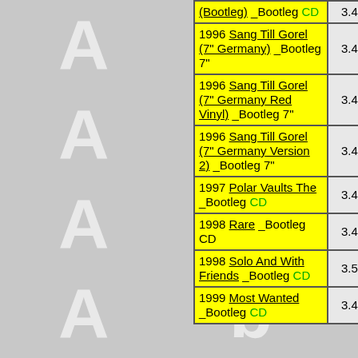[Figure (illustration): Gray background with repeating ABBA letters in white/light gray arranged in a grid pattern]
| Release | Rating |
| --- | --- |
| (Bootleg) _Bootleg CD | 3.41 |
| 1996 Sang Till Gorel (7" Germany) _Bootleg 7" | 3.41 |
| 1996 Sang Till Gorel (7" Germany Red Vinyl) _Bootleg 7" | 3.41 |
| 1996 Sang Till Gorel (7" Germany Version 2) _Bootleg 7" | 3.41 |
| 1997 Polar Vaults The _Bootleg CD | 3.41 |
| 1998 Rare _Bootleg CD | 3.41 |
| 1998 Solo And With Friends _Bootleg CD | 3.50 |
| 1999 Most Wanted _Bootleg CD | 3.41 |